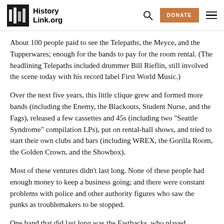HistoryLink.org
About 100 people paid to see the Telepaths, the Meyce, and the Tupperwares; enough for the bands to pay for the room rental. (The headlining Telepaths included drummer Bill Rieflin, still involved the scene today with his record label First World Music.)
Over the next five years, this little clique grew and formed more bands (including the Enemy, the Blackouts, Student Nurse, and the Fags), released a few cassettes and 45s (including two "Seattle Syndrome" compilation LPs), put on rental-hall shows, and tried to start their own clubs and bars (including WREX, the Gorilla Room, the Golden Crown, and the Showbox).
Most of these ventures didn't last long. None of these people had enough money to keep a business going; and there were constant problems with police and other authority figures who saw the punks as troublemakers to be stopped.
One band that did last long was the Fastbacks, who played